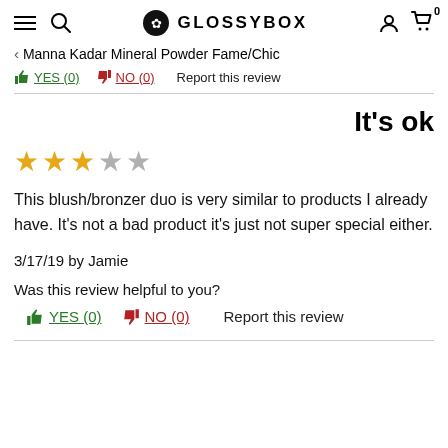GLOSSYBOX
< Manna Kadar Mineral Powder Fame/Chic
YES (0)  NO (0)  Report this review
It's ok
[Figure (other): 3 filled gold stars and 2 empty gray stars indicating a 3 out of 5 star rating]
This blush/bronzer duo is very similar to products I already have. It's not a bad product it's just not super special either.
3/17/19 by Jamie
Was this review helpful to you?
YES (0)  NO (0)  Report this review